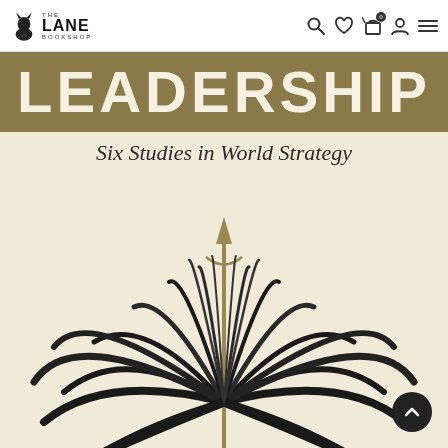THE LANE BOOKSHOP — navigation bar with search, wishlist, cart (0), account, and menu icons
LEADERSHIP
Six Studies in World Strategy
[Figure (illustration): Book cover illustration: compass rose / palm frond radiating outward with dark spiky leaves and a central golden arrow/spear pointing upward, on a cream/beige background]